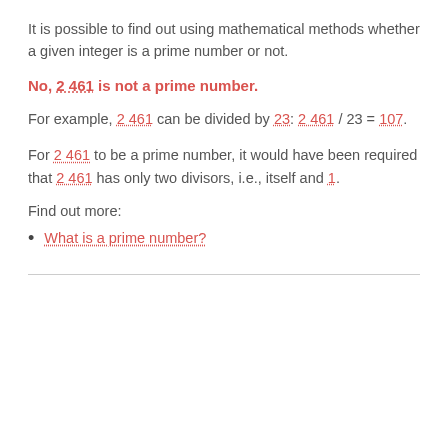It is possible to find out using mathematical methods whether a given integer is a prime number or not.
No, 2 461 is not a prime number.
For example, 2 461 can be divided by 23: 2 461 / 23 = 107.
For 2 461 to be a prime number, it would have been required that 2 461 has only two divisors, i.e., itself and 1.
Find out more:
What is a prime number?